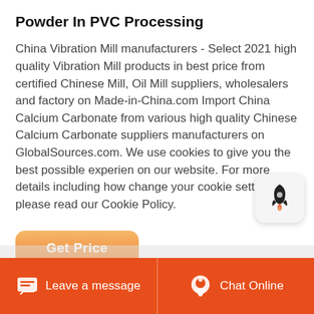Powder In PVC Processing
China Vibration Mill manufacturers - Select 2021 high quality Vibration Mill products in best price from certified Chinese Mill, Oil Mill suppliers, wholesalers and factory on Made-in-China.com Import China Calcium Carbonate from various high quality Chinese Calcium Carbonate suppliers manufacturers on GlobalSources.com. We use cookies to give you the best possible experience on our website. For more details including how change your cookie settings, please read our Cookie Policy.
[Figure (illustration): Rocket icon popup button in gray rounded square]
Get Price
Leave a message   Chat Online